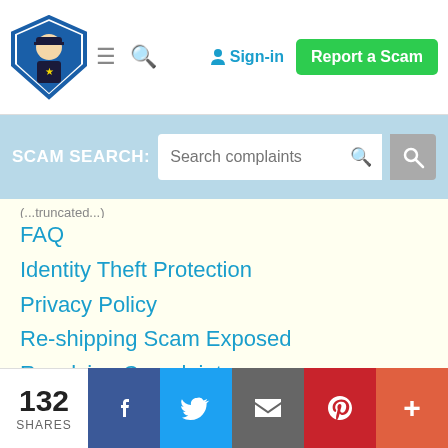[Figure (logo): Shield logo with police officer icon]
Sign-in
Report a Scam
SCAM SEARCH: Search complaints
FAQ
Identity Theft Protection
Privacy Policy
Re-shipping Scam Exposed
Resolving Complaints
Tax Return Scams
Top Scam List
132 SHARES